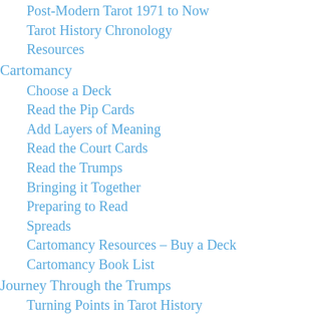Post-Modern Tarot 1971 to Now
Tarot History Chronology
Resources
Cartomancy
Choose a Deck
Read the Pip Cards
Add Layers of Meaning
Read the Court Cards
Read the Trumps
Bringing it Together
Preparing to Read
Spreads
Cartomancy Resources – Buy a Deck
Cartomancy Book List
Journey Through the Trumps
Turning Points in Tarot History
Bibliography
From Il Matto to the Fool in Tarot
From Il Bagatto to the Magician in Tarot
L'Imperatrice/The Empress in Tarot